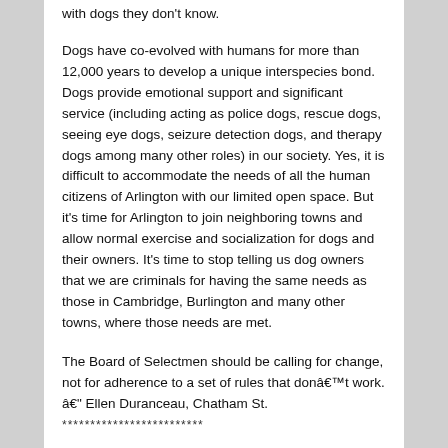with dogs they don’t know.
Dogs have co-evolved with humans for more than 12,000 years to develop a unique interspecies bond. Dogs provide emotional support and significant service (including acting as police dogs, rescue dogs, seeing eye dogs, seizure detection dogs, and therapy dogs among many other roles) in our society. Yes, it is difficult to accommodate the needs of all the human citizens of Arlington with our limited open space. But it’s time for Arlington to join neighboring towns and allow normal exercise and socialization for dogs and their owners. It’s time to stop telling us dog owners that we are criminals for having the same needs as those in Cambridge, Burlington and many other towns, where those needs are met.
The Board of Selectmen should be calling for change, not for adherence to a set of rules that donât work. â Ellen Duranceau, Chatham St.
*************************
Letter: Socialization is important